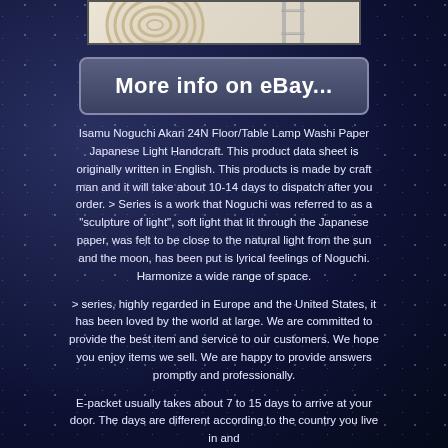[Figure (photo): Product photo of Isamu Noguchi Akari lamp components on white background with eBay watermark — a coiled bamboo/rattan ring and metal wire stand frame]
More info on eBay...
Isamu Noguchi Akari 24N Floor/Table Lamp Washi Paper Japanese Light Handcraft. This product data sheet is originally written in English. This products is made by craft man and it will take about 10-14 days to dispatch after you order. > Series is a work that Noguchi was referred to as a "sculpture of light", soft light that lit through the Japanese paper, was felt to be close to the natural light from the sun and the moon, has been put is lyrical feelings of Noguchi. Harmonize a wide range of space.
> series, highly regarded in Europe and the United States, it has been loved by the world at large. We are committed to provide the best item and service to our customers. We hope you enjoy items we sell. We are happy to provide answers promptly and professionally.
E-packet usually takes about 7 to 15 days to arrive at your door. The days are different according to the country you live in and